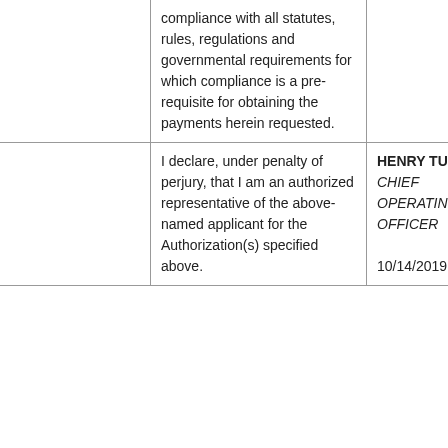|  | compliance with all statutes, rules, regulations and governmental requirements for which compliance is a pre-requisite for obtaining the payments herein requested. |  |
|  | I declare, under penalty of perjury, that I am an authorized representative of the above-named applicant for the Authorization(s) specified above. | HENRY TURNER
CHIEF OPERATING OFFICER

10/14/2019 |